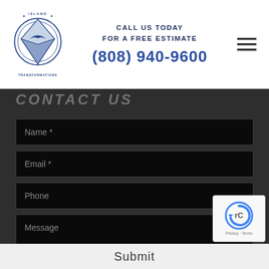[Figure (logo): Island Transformations circular logo with diamond/gem shape and stylized bird in center, blue and white colors]
CALL US TODAY
FOR A FREE ESTIMATE
(808) 940-9600
[Figure (other): Hamburger menu icon (three horizontal lines)]
CONTACT US
Name *
Email *
Phone
Message
[Figure (other): Google reCAPTCHA badge with spinning reCAPTCHA logo and Privacy - Terms text]
Submit